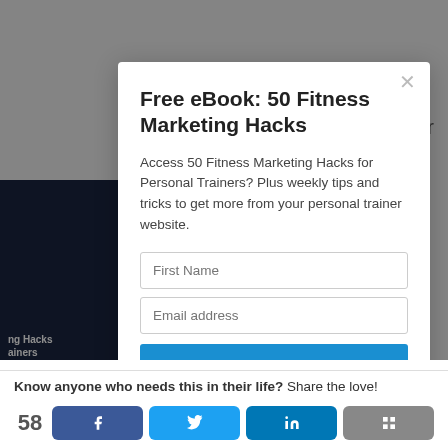[Figure (screenshot): Modal popup overlay on a webpage showing a free eBook offer for '50 Fitness Marketing Hacks' for personal trainers, with a First Name field, Email address field, and Download Now button. A partial ebook cover is visible on the left. Background shows a fitness website with partial text 'ner' visible top right.]
Free eBook: 50 Fitness Marketing Hacks
Access 50 Fitness Marketing Hacks for Personal Trainers? Plus weekly tips and tricks to get more from your personal trainer website.
Know anyone who needs this in their life? Share the love!